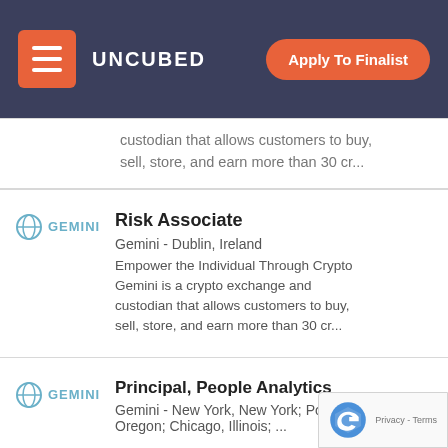UNCUBED — Apply To Finalist
Gemini is a crypto exchange and custodian that allows customers to buy, sell, store, and earn more than 30 cr...
Risk Associate
Gemini - Dublin, Ireland
Empower the Individual Through Crypto
Gemini is a crypto exchange and custodian that allows customers to buy, sell, store, and earn more than 30 cr...
Principal, People Analytics
Gemini - New York, New York; Portland, Oregon; Chicago, Illinois; ...